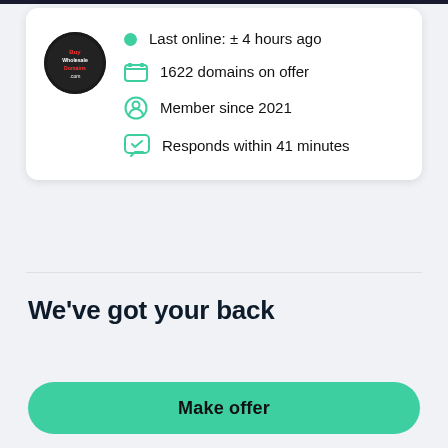[Figure (logo): Circular logo badge with dark background, red and white text reading 'BuyWholesaleDomains.com']
Last online: ± 4 hours ago
1622 domains on offer
Member since 2021
Responds within 41 minutes
We've got your back
Make offer